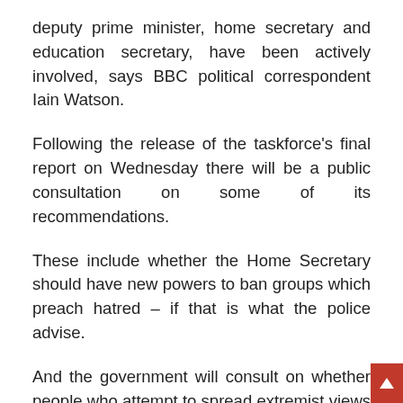deputy prime minister, home secretary and education secretary, have been actively involved, says BBC political correspondent Iain Watson.
Following the release of the taskforce's final report on Wednesday there will be a public consultation on some of its recommendations.
These include whether the Home Secretary should have new powers to ban groups which preach hatred – if that is what the police advise.
And the government will consult on whether people who attempt to spread extremist views should be banned from getting in touch with those who they are seeking to radicalise and whether they should be prevented from entering certain premises such as schools or colleges.